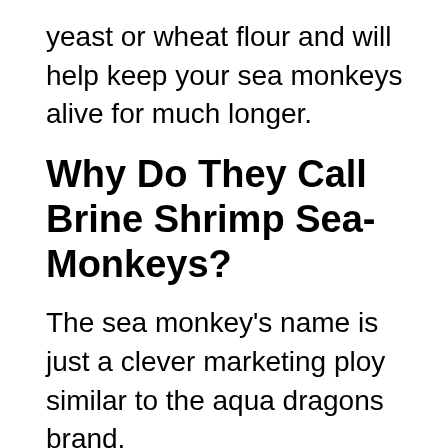yeast or wheat flour and will help keep your sea monkeys alive for much longer.
Why Do They Call Brine Shrimp Sea-Monkeys?
The sea monkey's name is just a clever marketing ploy similar to the aqua dragons brand.
Sea monkeys were originally marketed as “instant life” and saw poor sales until the rebrand and they have stuck with the term sea monkeys ever since due to it resulting in considerably better sales.